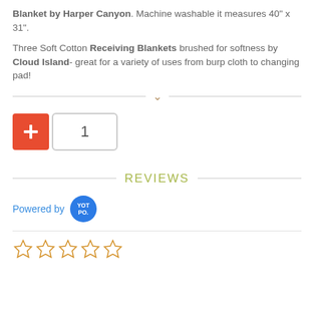Blanket by Harper Canyon. Machine washable it measures 40" x 31".
Three Soft Cotton Receiving Blankets brushed for softness by Cloud Island- great for a variety of uses from burp cloth to changing pad!
[Figure (other): Quantity selector with red plus button and input field showing 1]
REVIEWS
Powered by YotPo
[Figure (other): Five empty star rating icons in orange/tan color]